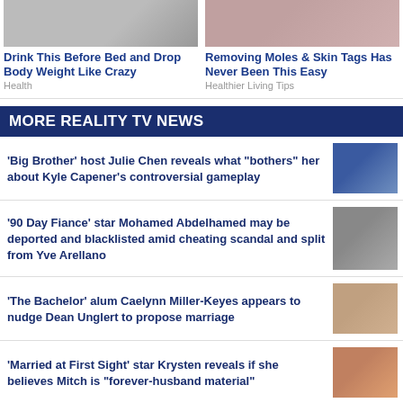[Figure (photo): Ad: Drink This Before Bed and Drop Body Weight Like Crazy - Health]
[Figure (photo): Ad: Removing Moles & Skin Tags Has Never Been This Easy - Healthier Living Tips]
MORE REALITY TV NEWS
'Big Brother' host Julie Chen reveals what "bothers" her about Kyle Capener's controversial gameplay
'90 Day Fiance' star Mohamed Abdelhamed may be deported and blacklisted amid cheating scandal and split from Yve Arellano
'The Bachelor' alum Caelynn Miller-Keyes appears to nudge Dean Unglert to propose marriage
'Married at First Sight' star Krysten reveals if she believes Mitch is "forever-husband material"
'Bachelor in Paradise' bartender Wells Adams teases...